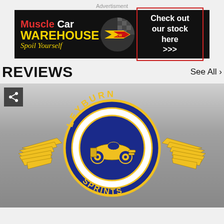Advertisment
[Figure (illustration): Muscle Car Warehouse advertisement banner on black background. Left side shows 'Muscle Car' in red/white bold text, 'WAREHOUSE' in yellow, 'Spoil Yourself' in yellow italic. Center has MCW logo (yellow/red arrow emblem). Right side has a red-bordered box with white text 'Check out our stock here >>>']
REVIEWS
See All >
[Figure (logo): Leyburn Sprints logo — circular blue and gold emblem with 'LEYBURN' text at top in yellow letters on blue ring, 'SPRINTS' at bottom, and a vintage racing car illustration in the center with large gold wings extending left and right. Background is grey gradient.]